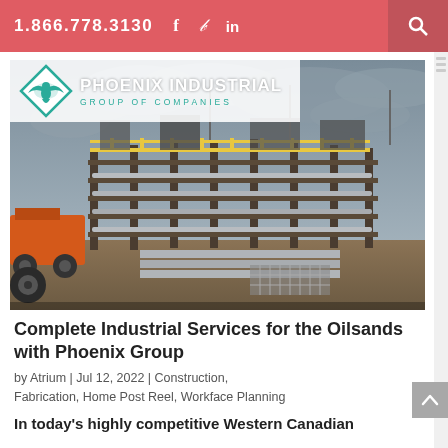1.866.778.3130  f  y  in
[Figure (photo): Phoenix Industrial Group of Companies logo overlaid on a photograph of an industrial oil sands construction site with steel structures, yellow railings, and heavy equipment under a cloudy sky.]
Complete Industrial Services for the Oilsands with Phoenix Group
by Atrium | Jul 12, 2022 | Construction, Fabrication, Home Post Reel, Workface Planning
In today’s highly competitive Western Canadian